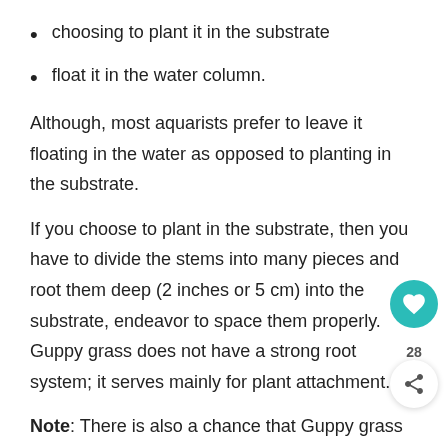choosing to plant it in the substrate
float it in the water column.
Although, most aquarists prefer to leave it floating in the water as opposed to planting in the substrate.
If you choose to plant in the substrate, then you have to divide the stems into many pieces and root them deep (2 inches or 5 cm) into the substrate, endeavor to space them properly. Guppy grass does not have a strong root system; it serves mainly for plant attachment.
Note: There is also a chance that Guppy grass will melt if you decide to plant it after it has been floating.
Whereas if you choose to float, divide the stems equally